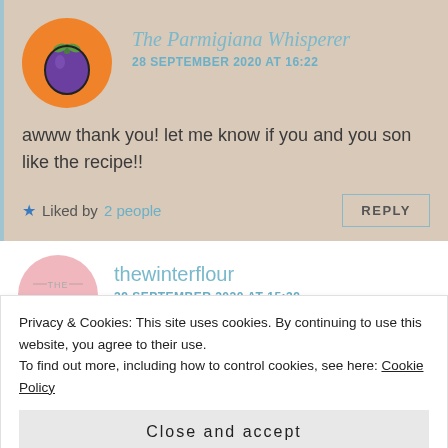The Parmigiana Whisperer
28 SEPTEMBER 2020 AT 16:22
awww thank you! let me know if you and you son like the recipe!!
Liked by 2 people
REPLY
thewinterflour
29 SEPTEMBER 2020 AT 15:39
Privacy & Cookies: This site uses cookies. By continuing to use this website, you agree to their use. To find out more, including how to control cookies, see here: Cookie Policy
Close and accept